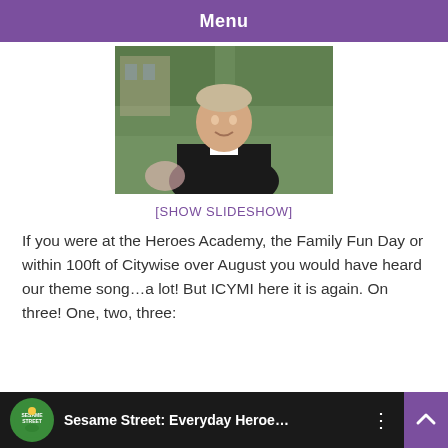Menu
[Figure (photo): A smiling man wearing a black clerical collar shirt, standing outdoors with green trees/bushes in the background.]
[SHOW SLIDESHOW]
If you were at the Heroes Academy, the Family Fun Day or within 100ft of Citywise over August you would have heard our theme song...a lot! But ICYMI here it is again. On three! One, two, three:
[Figure (screenshot): YouTube video thumbnail showing 'Sesame Street: Everyday Heroe...' with Sesame Street logo on dark background.]